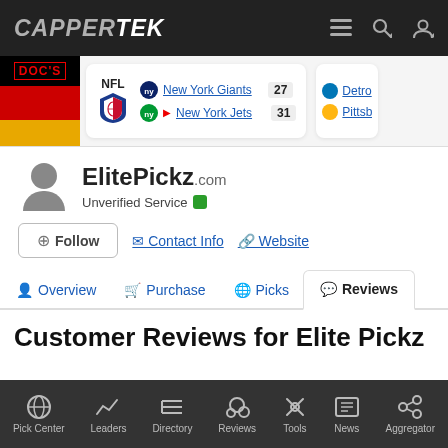CAPPERTEK
[Figure (screenshot): Scores bar showing NFL game: New York Giants 27, New York Jets 31 (Jets winning), and partial view of Detroit and Pittsburgh scores. Doc's Sports logo on left.]
ElitePickz.com
Unverified Service
Follow  Contact Info  Website
Overview  Purchase  Picks  Reviews
Customer Reviews for Elite Pickz
Pick Center  Leaders  Directory  Reviews  Tools  News  Aggregator